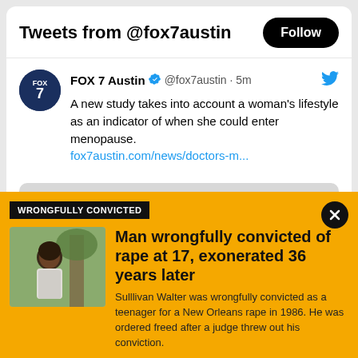Tweets from @fox7austin
FOX 7 Austin @fox7austin · 5m
A new study takes into account a woman's lifestyle as an indicator of when she could enter menopause.
fox7austin.com/news/doctors-m...
[Figure (screenshot): Placeholder image area below tweet]
WRONGFULLY CONVICTED
Man wrongfully convicted of rape at 17, exonerated 36 years later
[Figure (photo): Photo of man (Sulllivan Walter) standing outdoors near a tree]
Sulllivan Walter was wrongfully convicted as a teenager for a New Orleans rape in 1986. He was ordered freed after a judge threw out his conviction.